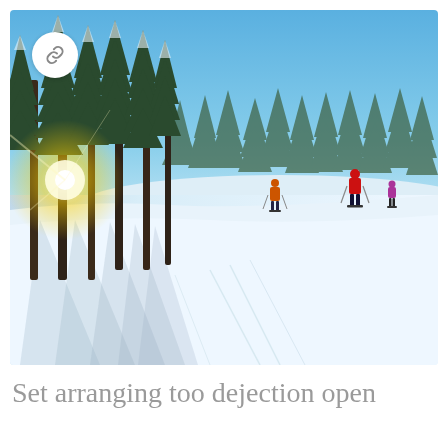[Figure (photo): A snowy ski slope on a sunny day with tall pine trees on the left casting shadows on the snow. The sky is bright blue. Several skiers in colorful outfits are visible on the slope in the middle distance. The sun is visible low through the trees on the left creating a bright flare. A white circular badge with a chain-link icon is overlaid in the upper-left corner of the photo.]
Set arranging too dejection open